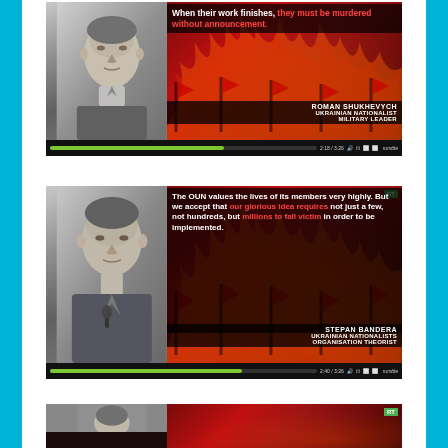[Figure (screenshot): Video screenshot from Rumble showing black-and-white photo of Roman Shukhevych on the left, red flames background on the right with quote: 'When their work finishes, they must be murdered without announcement.' Attributed to ROMAN SHUKHEVYCH, UKRAINIAN NATIONALIST MILITARY LEADER. Progress bar shows 2:18/3:26.]
[Figure (screenshot): Video screenshot from RT showing black-and-white photo of Stepan Bandera on the left, red flames background with RT badge on the right with quote: 'The OUN values the lives of its members very highly. But we accept that our glorious idea requires not just a few, not hundreds, but millions to fall victim in order to be implemented.' Attributed to STEPAN BANDERA, UKRAINIAN NATIONALISTS ORGANISATION THEORIST. Progress bar shows 2:40/3:26.]
[Figure (screenshot): Partial video screenshot from RT, showing the top portion of a third video frame with red background and RT badge visible.]